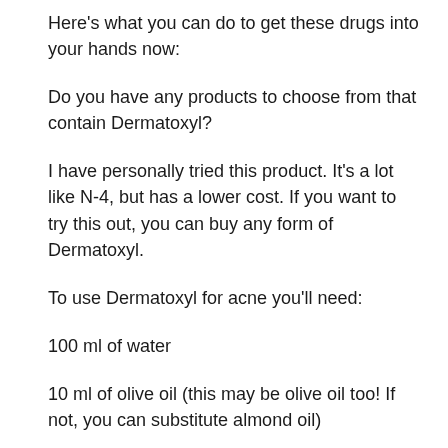Here's what you can do to get these drugs into your hands now:
Do you have any products to choose from that contain Dermatoxyl?
I have personally tried this product. It's a lot like N-4, but has a lower cost. If you want to try this out, you can buy any form of Dermatoxyl.
To use Dermatoxyl for acne you'll need:
100 ml of water
10 ml of olive oil (this may be olive oil too! If not, you can substitute almond oil)
1 teaspoon of cocoa powder
A small amount of the following ingredients: